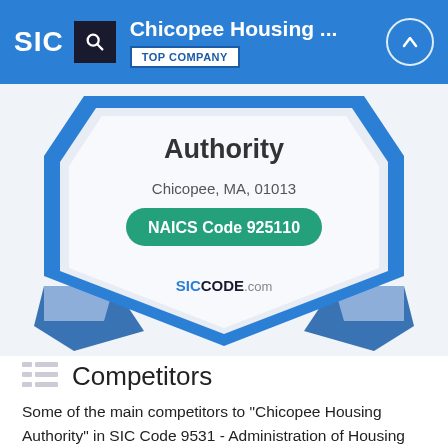Chicopee Housing ... TOP COMPANY
[Figure (illustration): Blue and white badge/seal for Chicopee Housing Authority with text 'Authority', 'Chicopee, MA, 01013', 'NAICS Code 925110', and 'SICCODE.com'. The badge has a shield shape with blue ribbon decorations.]
Competitors
Some of the main competitors to "Chicopee Housing Authority" in SIC Code 9531 - Administration of Housing Programs and NAICS Code 925110 - Administration of Housing Programs are the following: